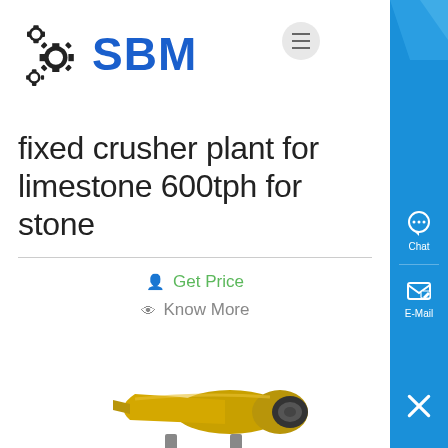[Figure (logo): SBM logo with gear/cog icon in black and blue text]
fixed crusher plant for limestone 600tph for stone
Get Price
Know More
[Figure (photo): Yellow industrial ball mill / crusher machine]
600 tph mobile crusher thailand